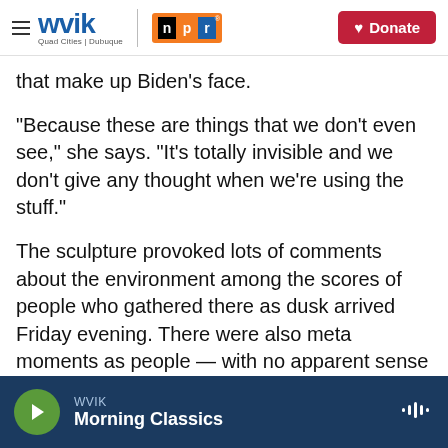WVIK | Quad Cities | Dubuque — NPR — Donate
that make up Biden's face.
"Because these are things that we don't even see," she says. "It's totally invisible and we don't give any thought when we're using the stuff."
The sculpture provoked lots of comments about the environment among the scores of people who gathered there as dusk arrived Friday evening. There were also meta moments as people — with no apparent sense of irony — used their smartphones to shoot pictures of sculptures made with old smartphones.
WVIK Morning Classics